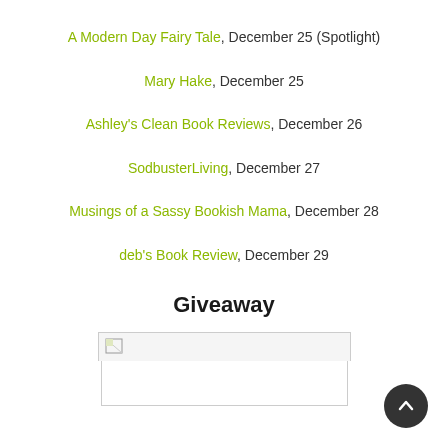A Modern Day Fairy Tale, December 25 (Spotlight)
Mary Hake, December 25
Ashley's Clean Book Reviews, December 26
SodbusterLiving, December 27
Musings of a Sassy Bookish Mama, December 28
deb's Book Review, December 29
Giveaway
[Figure (other): Broken image placeholder with small icon in top-left corner, white background with gray border]